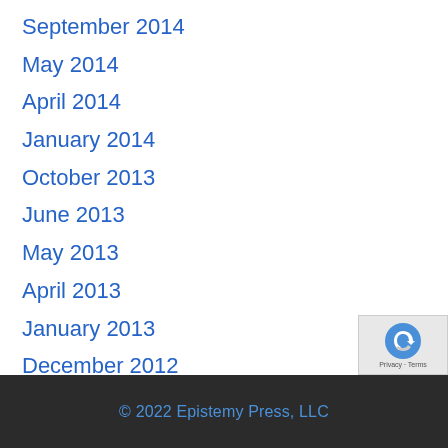September 2014
May 2014
April 2014
January 2014
October 2013
June 2013
May 2013
April 2013
January 2013
December 2012
November 2012
October 2012
© 2022 Epistemy Press, LLC